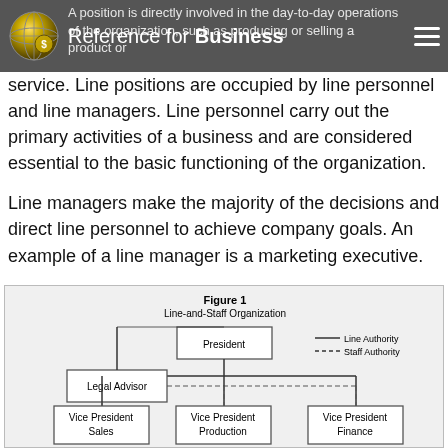Reference for Business
A position is directly involved in the day-to-day operations of the organization, such as producing or selling a product or service. Line positions are occupied by line personnel and line managers. Line personnel carry out the primary activities of a business and are considered essential to the basic functioning of the organization.
Line managers make the majority of the decisions and direct line personnel to achieve company goals. An example of a line manager is a marketing executive.
[Figure (organizational-chart): Line-and-Staff Organization chart showing President at top, with Legal Advisor connected via dashed staff authority line, and three Vice Presidents (Sales, Production, Finance) below connected via solid line authority lines. Legend shows solid line = Line Authority, dashed line = Staff Authority.]